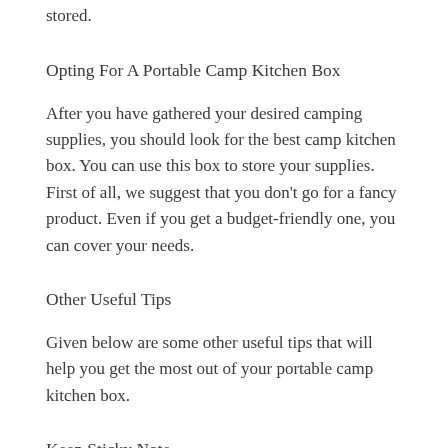stored.
Opting For A Portable Camp Kitchen Box
After you have gathered your desired camping supplies, you should look for the best camp kitchen box. You can use this box to store your supplies. First of all, we suggest that you don’t go for a fancy product. Even if you get a budget-friendly one, you can cover your needs.
Other Useful Tips
Given below are some other useful tips that will help you get the most out of your portable camp kitchen box.
Keep Sticky Note